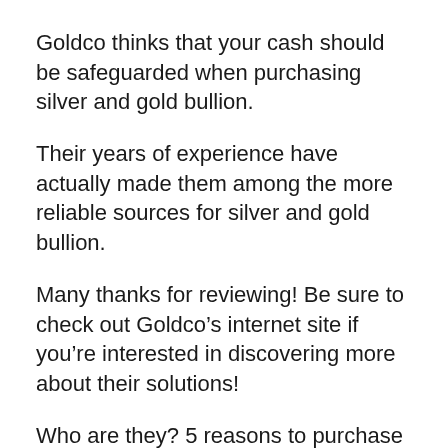Goldco thinks that your cash should be safeguarded when purchasing silver and gold bullion.
Their years of experience have actually made them among the more reliable sources for silver and gold bullion.
Many thanks for reviewing! Be sure to check out Goldco’s internet site if you’re interested in discovering more about their solutions!
Who are they? 5 reasons to purchase from Goldco
Goldco is a leading precious metal service provider that has been in the business for over twenty years. They supply a safe and